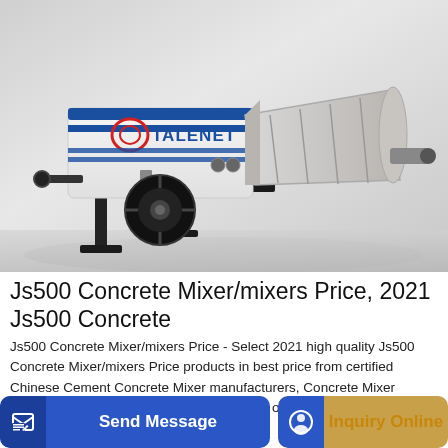[Figure (photo): Talenet branded concrete mixer/pump machine with white body, blue stripes and logo, mounted on a wheeled trailer frame with stabilizer legs, shown in a studio/warehouse background.]
Js500 Concrete Mixer/mixers Price, 2021 Js500 Concrete
Js500 Concrete Mixer/mixers Price - Select 2021 high quality Js500 Concrete Mixer/mixers Price products in best price from certified Chinese Cement Concrete Mixer manufacturers, Concrete Mixer Machine suppliers, wholesalers and factory on Made-in-China.com
Send Message
Inquiry Online